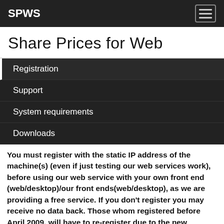SPWS
Share Prices for Web
Registration
Support
System requirements
Downloads
You must register with the static IP address of the machine(s) (even if just testing our web services work), before using our web service with your own front end (web/desktop)/our front ends(web/desktop), as we are providing a free service. If you don't register you may receive no data back. Those whom registered before April 2009, will have to re-register due to the new registration system.